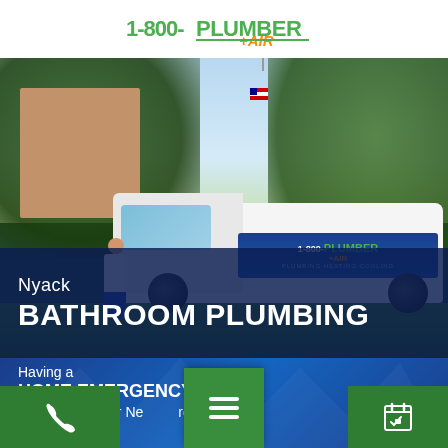[Figure (logo): 1-800-PLUMBER +AIR logo in green and orange]
[Figure (photo): 1-800-PLUMBER +AIR service van parked in front of a house, with a plumber standing next to it. Trees in background, American flag visible.]
Nyack BATHROOM PLUMBING
Having a HOME EMERGENCY? Call or Find Your Nearest Pro!
[Figure (illustration): Bottom blue banner with phone icon button, hamburger menu button (green), and calendar/schedule icon button]